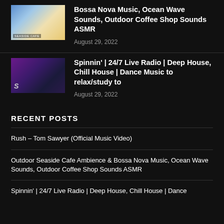[Figure (photo): Thumbnail of outdoor seaside cafe with chairs and ocean view]
Bossa Nova Music, Ocean Wave Sounds, Outdoor Coffee Shop Sounds ASMR
August 29, 2022
[Figure (photo): Thumbnail of Spinnin Records 24/7 live radio stream with dark purple background and S logo]
Spinnin' | 24/7 Live Radio | Deep House, Chill House | Dance Music to relax/study to
August 29, 2022
RECENT POSTS
Rush – Tom Sawyer (Official Music Video)
Outdoor Seaside Cafe Ambience & Bossa Nova Music, Ocean Wave Sounds, Outdoor Coffee Shop Sounds ASMR
Spinnin' | 24/7 Live Radio | Deep House, Chill House | Dance